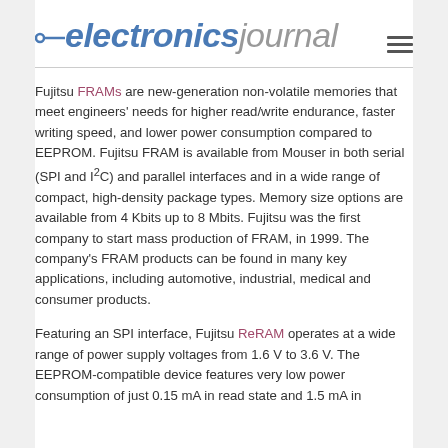electronics journal
Fujitsu FRAMs are new-generation non-volatile memories that meet engineers' needs for higher read/write endurance, faster writing speed, and lower power consumption compared to EEPROM. Fujitsu FRAM is available from Mouser in both serial (SPI and I²C) and parallel interfaces and in a wide range of compact, high-density package types. Memory size options are available from 4 Kbits up to 8 Mbits. Fujitsu was the first company to start mass production of FRAM, in 1999. The company's FRAM products can be found in many key applications, including automotive, industrial, medical and consumer products.
Featuring an SPI interface, Fujitsu ReRAM operates at a wide range of power supply voltages from 1.6 V to 3.6 V. The EEPROM-compatible device features very low power consumption of just 0.15 mA in read state and 1.5 mA in